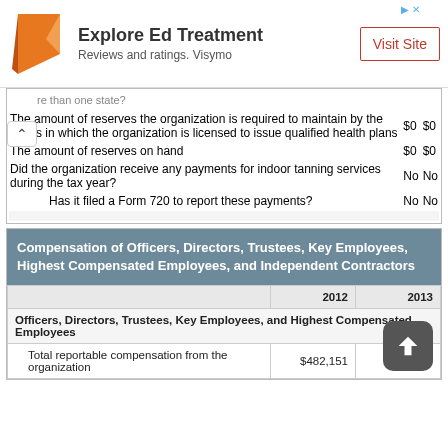[Figure (other): Advertisement banner: orange logo, 'Explore Ed Treatment', 'Reviews and ratings. Visymo', 'Visit Site' button]
| Description | 2012 | 2013 |
| --- | --- | --- |
| re than one state? |  |  |
| The amount of reserves the organization is required to maintain by the states in which the organization is licensed to issue qualified health plans | $0 | $0 |
| The amount of reserves on hand | $0 | $0 |
| Did the organization receive any payments for indoor tanning services during the tax year? | No | No |
| Has it filed a Form 720 to report these payments? | No | No |
| Compensation of Officers, Directors, Trustees, Key Employees, Highest Compensated Employees, and Independent Contractors | 2012 | 2013 |
| --- | --- | --- |
| Officers, Directors, Trustees, Key Employees, and Highest Compensated Employees |  |  |
| Total reportable compensation from the organization | $482,151 | $382,284 |